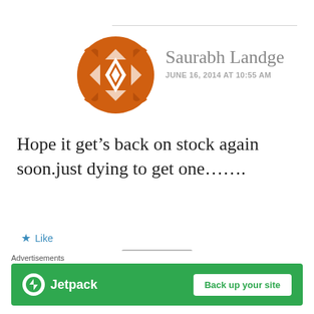[Figure (illustration): Orange decorative avatar icon with geometric diamond/star pattern for user Saurabh Landge]
Saurabh Landge
JUNE 16, 2014 AT 10:55 AM
Hope it get’s back on stock again soon.just dying to get one……..
★ Like
REPLY
[Figure (photo): Circular profile photo of Gaurav Shukla]
Gaurav Shukla
Advertisements
[Figure (infographic): Jetpack advertisement banner with green background showing Jetpack logo and Back up your site button]